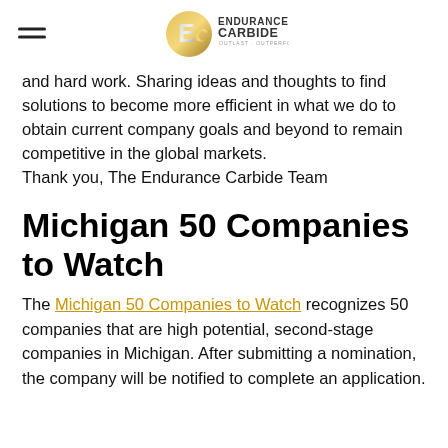Endurance Carbide — Outlast · Outperform
and hard work. Sharing ideas and thoughts to find solutions to become more efficient in what we do to obtain current company goals and beyond to remain competitive in the global markets.
Thank you, The Endurance Carbide Team
Michigan 50 Companies to Watch
The Michigan 50 Companies to Watch recognizes 50 companies that are high potential, second-stage companies in Michigan. After submitting a nomination, the company will be notified to complete an application.